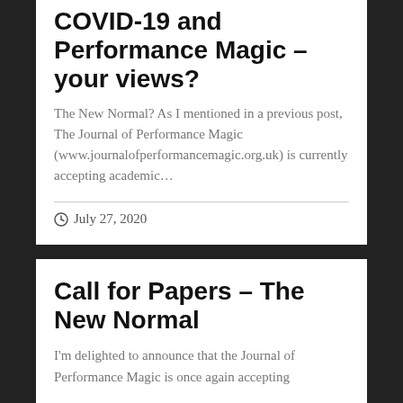COVID-19 and Performance Magic – your views?
The New Normal? As I mentioned in a previous post, The Journal of Performance Magic (www.journalofperformancemagic.org.uk) is currently accepting academic…
July 27, 2020
Call for Papers – The New Normal
I'm delighted to announce that the Journal of Performance Magic is once again accepting